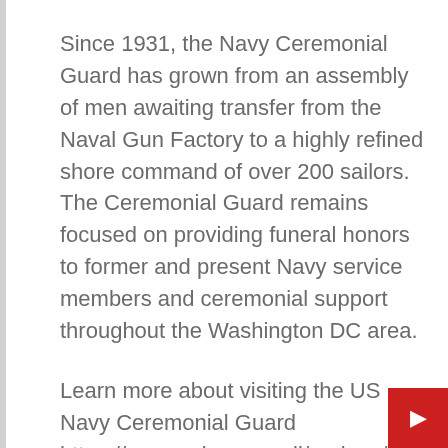Since 1931, the Navy Ceremonial Guard has grown from an assembly of men awaiting transfer from the Naval Gun Factory to a highly refined shore command of over 200 sailors. The Ceremonial Guard remains focused on providing funeral honors to former and present Navy service members and ceremonial support throughout the Washington DC area.
Learn more about visiting the US Navy Ceremonial Guard https://www.cnic.navy.mil/regions/ndw/about/ceremonial_guard.html or follow us on social media media at https://www.facebook.com/usnceremonialguard